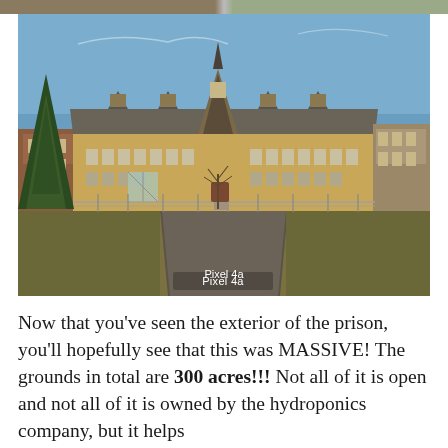[Figure (photo): Exterior photograph of a large historic prison building taken from a long driveway approach. The building features Tudor/Gothic architectural style with yellow-tan stone/brick facade, dark gray steeply pitched roof with multiple dormers and a central tower. A chain-link fence runs across the front. Large evergreen trees flank the left side. The foreground shows a gravel/asphalt driveway leading straight to the entrance. Sky is clear blue. The watermark text 'Pixel 4a' appears at the bottom center of the image.]
Pixel 4a
Now that you've seen the exterior of the prison, you'll hopefully see that this was MASSIVE! The grounds in total are 300 acres!!! Not all of it is open and not all of it is owned by the hydroponics company, but it helps